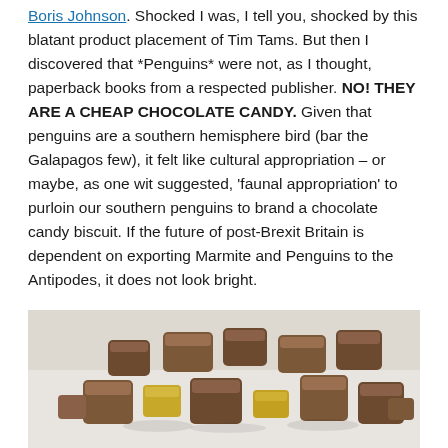Boris Johnson. Shocked I was, I tell you, shocked by this blatant product placement of Tim Tams. But then I discovered that *Penguins* were not, as I thought, paperback books from a respected publisher. NO! THEY ARE A CHEAP CHOCOLATE CANDY. Given that penguins are a southern hemisphere bird (bar the Galapagos few), it felt like cultural appropriation – or maybe, as one wit suggested, 'faunal appropriation' to purloin our southern penguins to brand a chocolate candy biscuit. If the future of post-Brexit Britain is dependent on exporting Marmite and Penguins to the Antipodes, it does not look bright.
[Figure (photo): Photo of chocolate biscuit pieces (resembling Tim Tams or Penguins), small chunky chocolate-covered biscuits scattered on a light surface, some broken pieces showing golden/caramel interior.]